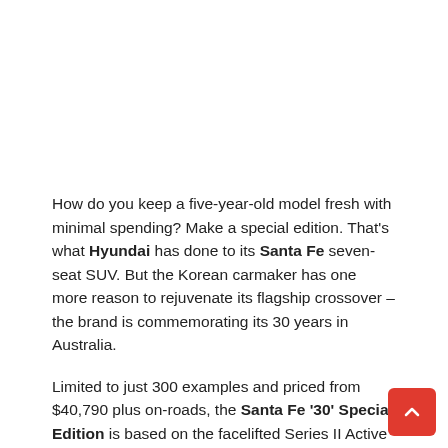[Figure (photo): White/blank image area at top of page, likely a photo of the Hyundai Santa Fe that is not visible in this crop]
How do you keep a five-year-old model fresh with minimal spending? Make a special edition. That's what Hyundai has done to its Santa Fe seven-seat SUV. But the Korean carmaker has one more reason to rejuvenate its flagship crossover – the brand is commemorating its 30 years in Australia.
Limited to just 300 examples and priced from $40,790 plus on-roads, the Santa Fe '30' Special Edition is based on the facelifted Series II Active variant which improves upon the pre-update model's already handsome styling with neat details such as new-design front and rear bumpers, revised headlights and taillights as well as and a new grille.